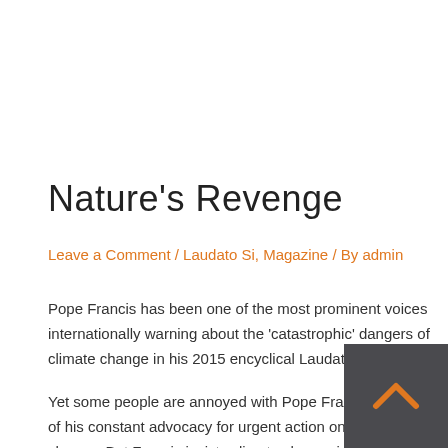Nature's Revenge
Leave a Comment / Laudato Si, Magazine / By admin
Pope Francis has been one of the most prominent voices internationally warning about the 'catastrophic' dangers of climate change in his 2015 encyclical Laudato Si'.
Yet some people are annoyed with Pope Francis because of his constant advocacy for urgent action on climate change. But Francis insists climate change involves crucial moral issues, threatening the life support systems of the entire planet.